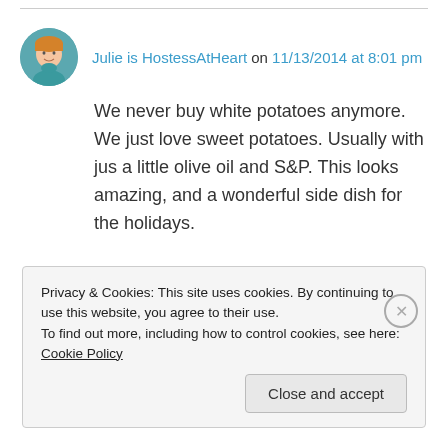Julie is HostessAtHeart on 11/13/2014 at 8:01 pm
We never buy white potatoes anymore. We just love sweet potatoes. Usually with jus a little olive oil and S&P. This looks amazing, and a wonderful side dish for the holidays.
Privacy & Cookies: This site uses cookies. By continuing to use this website, you agree to their use. To find out more, including how to control cookies, see here: Cookie Policy
Close and accept